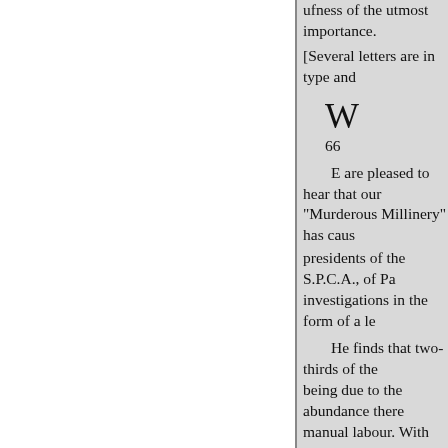ufless of the utmost importance.
[Several letters are in type and
W
66
E are pleased to hear that our
"Murderous Millinery" has caus
presidents of the S.P.C.A., of Pa investigations in the form of a le
He finds that two-thirds of the being due to the abundance there manual labour. With splendid sat high honour of furnishing the ch these most beautiful works of cr in exchange some patent chemic He wishes every success to ratio travellers who only see in their p slaughter."
The Paris Society has sent us the Bruneau's reply to M. Dembo's a Russian doctor who advocates a